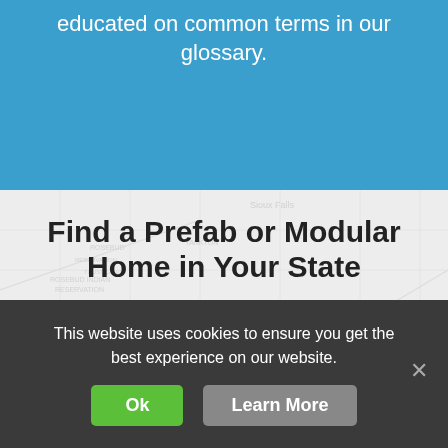educated on common terms in our glossary.
Find a Prefab or Modular Home in Your State
Alabama
Montana
Alaska
Nebraska
Arizona
Nevada
This website uses cookies to ensure you get the best experience on our website.
Ok
Learn More